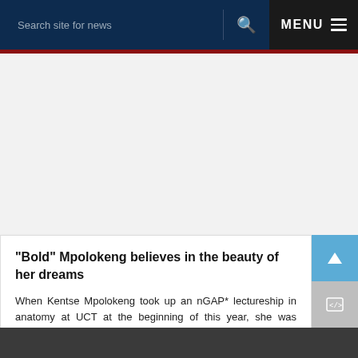Search site for news  MENU
"Bold" Mpolokeng believes in the beauty of her dreams
When Kentse Mpolokeng took up an nGAP* lectureship in anatomy at UCT at the beginning of this year, she was fulfilling a career ambition that she had spelled out to an interview panel years ago. But it almost didn't happen.
15 APR 2016